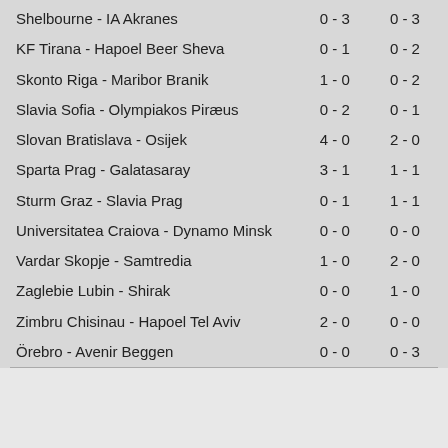| Match | Score 1 | Score 2 |
| --- | --- | --- |
| Shelbourne - IA Akranes | 0 - 3 | 0 - 3 |
| KF Tirana - Hapoel Beer Sheva | 0 - 1 | 0 - 2 |
| Skonto Riga - Maribor Branik | 1 - 0 | 0 - 2 |
| Slavia Sofia - Olympiakos Piræus | 0 - 2 | 0 - 1 |
| Slovan Bratislava - Osijek | 4 - 0 | 2 - 0 |
| Sparta Prag - Galatasaray | 3 - 1 | 1 - 1 |
| Sturm Graz - Slavia Prag | 0 - 1 | 1 - 1 |
| Universitatea Craiova - Dynamo Minsk | 0 - 0 | 0 - 0 |
| Vardar Skopje - Samtredia | 1 - 0 | 2 - 0 |
| Zaglebie Lubin - Shirak | 0 - 0 | 1 - 0 |
| Zimbru Chisinau - Hapoel Tel Aviv | 2 - 0 | 0 - 0 |
| Örebro - Avenir Beggen | 0 - 0 | 0 - 3 |